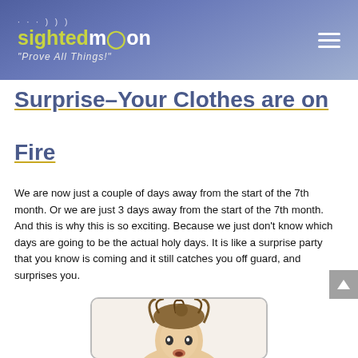sightedmoon — "Prove All Things!"
Surprise-Your Clothes are on Fire
We are now just a couple of days away from the start of the 7th month. Or we are just 3 days away from the start of the 7th month. And this is why this is so exciting. Because we just don't know which days are going to be the actual holy days. It is like a surprise party that you know is coming and it still catches you off guard, and surprises you.
[Figure (photo): Photo of a surprised person (woman) with messy hair, head tilted up, white background]